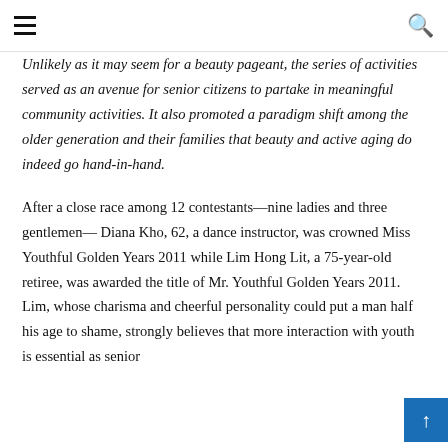≡  🔍
Unlikely as it may seem for a beauty pageant, the series of activities served as an avenue for senior citizens to partake in meaningful community activities. It also promoted a paradigm shift among the older generation and their families that beauty and active aging do indeed go hand-in-hand.
After a close race among 12 contestants—nine ladies and three gentlemen— Diana Kho, 62, a dance instructor, was crowned Miss Youthful Golden Years 2011 while Lim Hong Lit, a 75-year-old retiree, was awarded the title of Mr. Youthful Golden Years 2011. Lim, whose charisma and cheerful personality could put a man half his age to shame, strongly believes that more interaction with youth is essential as senior